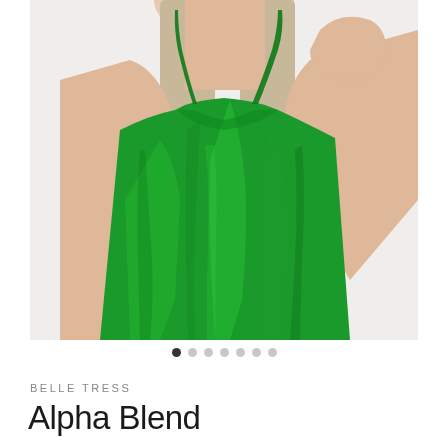[Figure (photo): A woman wearing a green satin spaghetti-strap camisole top. The photo is cropped to show from roughly the chin/shoulder area down to the waist. The model has straight blonde/light brown shoulder-length hair. Her right hand is raised near her head. The top is bright emerald green with a cowl neckline and thin spaghetti straps. The background is white.]
● ○ ○ ○ ○ ○ ○
BELLE TRESS
Alpha Blend